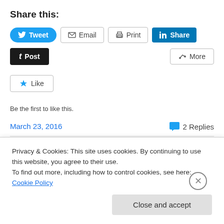Share this:
[Figure (screenshot): Social sharing buttons: Tweet (Twitter/blue), Email (outlined), Print (outlined), Share (LinkedIn/blue), Post (Tumblr/dark), More (outlined)]
[Figure (screenshot): Like button with star icon]
Be the first to like this.
March 23, 2016
2 Replies
What IF we collectively met
Privacy & Cookies: This site uses cookies. By continuing to use this website, you agree to their use.
To find out more, including how to control cookies, see here: Cookie Policy
Close and accept